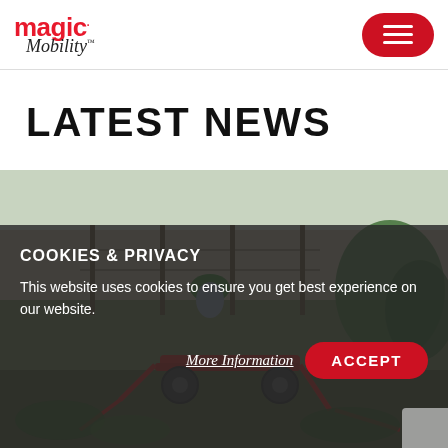magic Mobility — navigation header with hamburger menu
LATEST NEWS
[Figure (photo): Outdoor photo of a man wearing a green cap riding a red farm implement/wheelchair in a rural field setting with fence posts and vegetation in the background.]
COOKIES & PRIVACY
This website uses cookies to ensure you get best experience on our website.
More Information   ACCEPT